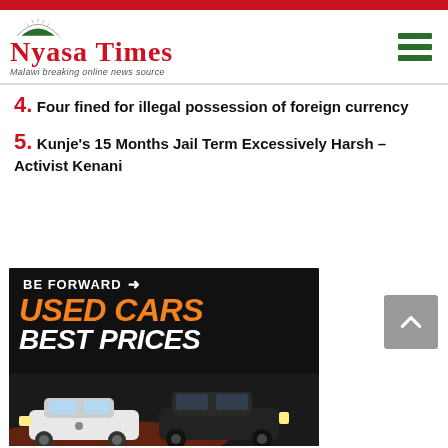[Figure (logo): Nyasa Times logo with dome graphic and tagline 'Malawi breaking online news source']
4. Four fined for illegal possession of foreign currency
5. Kunje's 15 Months Jail Term Excessively Harsh – Activist Kenani
[Figure (photo): Be Forward Used Cars Best Prices advertisement with cars on black background]